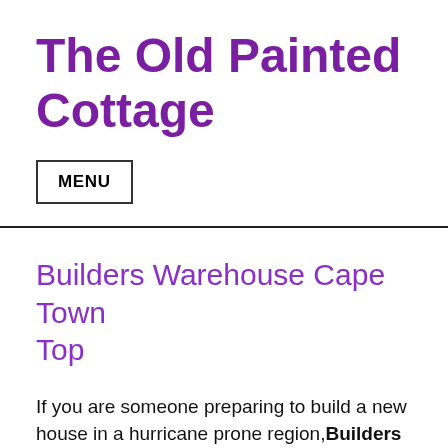The Old Painted Cottage
MENU
Builders Warehouse Cape Town Top
If you are someone preparing to build a new house in a hurricane prone region, Builders Warehouse Cape Town in Top  you may wonder what construction material is the best for a house in case of heavy? When we read that